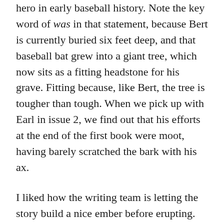hero in early baseball history. Note the key word of was in that statement, because Bert is currently buried six feet deep, and that baseball bat grew into a giant tree, which now sits as a fitting headstone for his grave. Fitting because, like Bert, the tree is tougher than tough. When we pick up with Earl in issue 2, we find out that his efforts at the end of the first book were moot, having barely scratched the bark with his ax.
I liked how the writing team is letting the story build a nice ember before erupting. We get to meet Coach Boss, who seems to be the most well connected and influential person in the county. He is introduced doing what he's best known for, coaching the high school football team. Like Earl says in the book, “there’s not much else a body can do the pass the time on a Friday